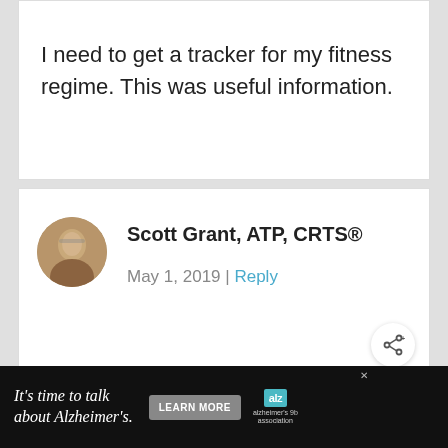I need to get a tracker for my fitness regime. This was useful information.
Scott Grant, ATP, CRTS®
May 1, 2019 | Reply
Good! I try to provide as much
WHAT'S NEXT → 5 Signs Of The Elderly Givi...
[Figure (infographic): Alzheimer's Association advertisement bar: It's time to talk about Alzheimer's. LEARN MORE button with Alzheimer's association logo.]